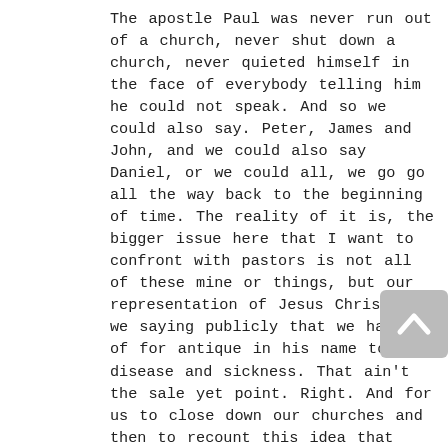The apostle Paul was never run out of a church, never shut down a church, never quieted himself in the face of everybody telling him he could not speak. And so we could also say. Peter, James and John, and we could also say Daniel, or we could all, we go go all the way back to the beginning of time. The reality of it is, the bigger issue here that I want to confront with pastors is not all of these mine or things, but our representation of Jesus Christ are we saying publicly that we have no of for antique in his name to cure disease and sickness. That ain't the sale yet point. Right. And for us to close down our churches and then to recount this idea that we're not, you know, those of us who are supposed to be the church, the cure to the social and moral and physical guilt of society are concerned that we are going to infect someone. Well, my goodness, that is an by Fe. That's paperless. And did that, did that break your